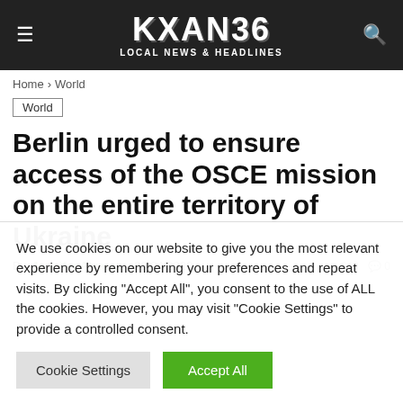KXAN36 LOCAL NEWS & HEADLINES
Home > World
World
Berlin urged to ensure access of the OSCE mission on the entire territory of Ukraine
By Jennifer Alvarez - 30/04/2020  348  0
We use cookies on our website to give you the most relevant experience by remembering your preferences and repeat visits. By clicking "Accept All", you consent to the use of ALL the cookies. However, you may visit "Cookie Settings" to provide a controlled consent.